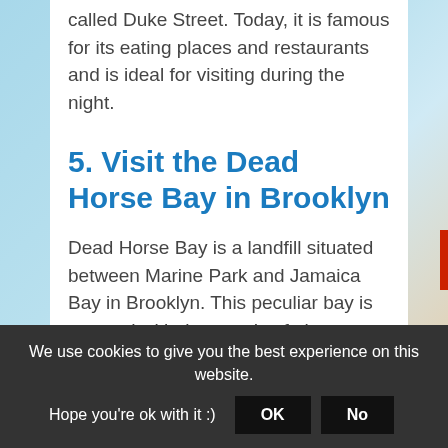called Duke Street. Today, it is famous for its eating places and restaurants and is ideal for visiting during the night.
5. Visit the Dead Horse Bay in Brooklyn
Dead Horse Bay is a landfill situated between Marine Park and Jamaica Bay in Brooklyn. This peculiar bay is covered with thousands of glass bottles and other indecomposable material.
Contrary to other places on this list, it is not
We use cookies to give you the best experience on this website. Hope you're ok with it :) OK No